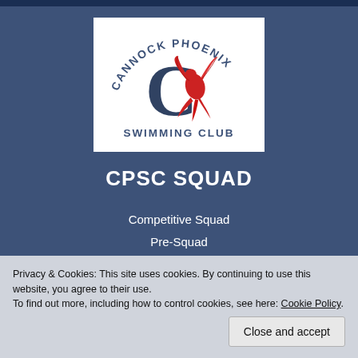[Figure (logo): Cannock Phoenix Swimming Club logo: a large dark blue letter C with a red phoenix bird rising from it, arched text reading CANNOCK PHOENIX above and SWIMMING CLUB below, on a white background]
CPSC SQUAD
Competitive Squad
Pre-Squad
Junior Squad
ASA Links
Club Policies
Privacy & Cookies: This site uses cookies. By continuing to use this website, you agree to their use.
To find out more, including how to control cookies, see here: Cookie Policy